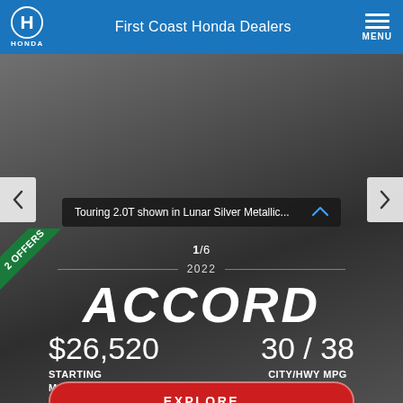First Coast Honda Dealers
Touring 2.0T shown in Lunar Silver Metallic...
2 OFFERS
1/6
2022
ACCORD
$26,520 STARTING MSRP*
30 / 38 CITY/HWY MPG RATING*
EXPLORE